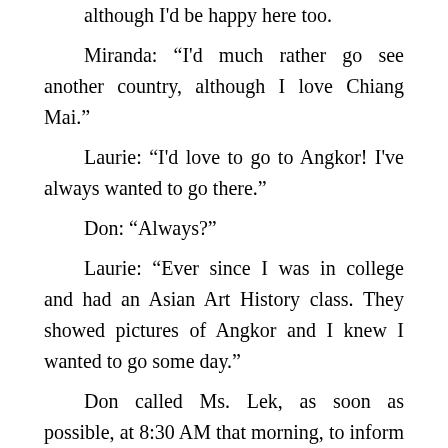although I'd be happy here too.
    Miranda: "I'd much rather go see another country, although I love Chiang Mai."
    Laurie: "I'd love to go to Angkor! I've always wanted to go there."
    Don: "Always?"
    Laurie: "Ever since I was in college and had an Asian Art History class. They showed pictures of Angkor and I knew I wanted to go some day."
    Don called Ms. Lek, as soon as possible, at 8:30 AM that morning, to inform her of our change of plans - that we were going to Angkor Wat rather than the Golden Triangle. She wasn't